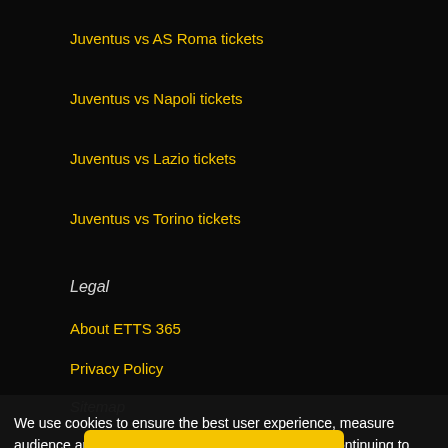Juventus vs AS Roma tickets
Juventus vs Napoli tickets
Juventus vs Lazio tickets
Juventus vs Torino tickets
Legal
About ETTS 365
Privacy Policy
Sitemap
Contact us
footballticketsjuve...
ETTS 365 SL
ES-B43945534
We use cookies to ensure the best user experience, measure audience and optimise social network services. By continuing to browse footballticketsjuventus.com, you are agreeing to our use of cookies. Cookie Policy
OK